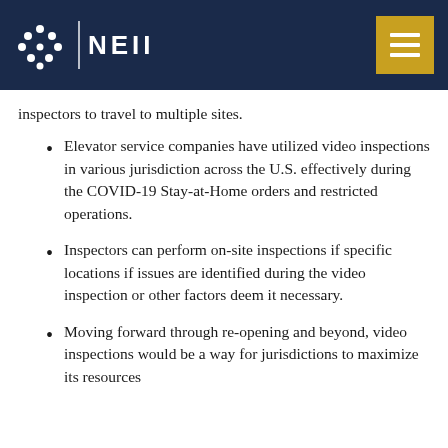NEII
inspectors to travel to multiple sites.
Elevator service companies have utilized video inspections in various jurisdiction across the U.S. effectively during the COVID-19 Stay-at-Home orders and restricted operations.
Inspectors can perform on-site inspections if specific locations if issues are identified during the video inspection or other factors deem it necessary.
Moving forward through re-opening and beyond, video inspections would be a way for jurisdictions to maximize its resources